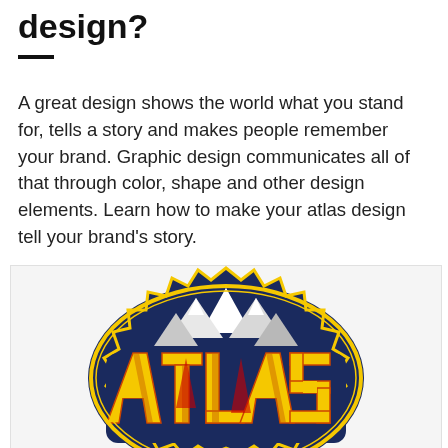design?
A great design shows the world what you stand for, tells a story and makes people remember your brand. Graphic design communicates all of that through color, shape and other design elements. Learn how to make your atlas design tell your brand’s story.
[Figure (logo): ATLAS logo: bold yellow letters spelling ATLAS with mountain peaks in dark navy blue background, decorative badge-style sports logo design]